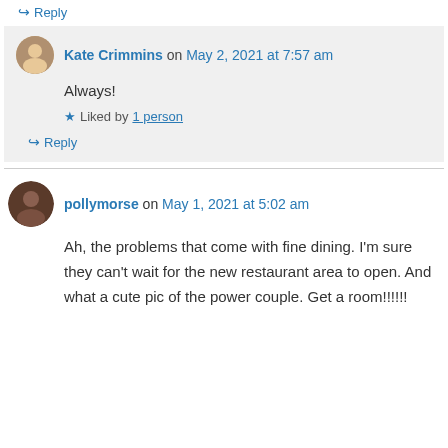↪ Reply
Kate Crimmins on May 2, 2021 at 7:57 am
Always!
★ Liked by 1 person
↪ Reply
pollymorse on May 1, 2021 at 5:02 am
Ah, the problems that come with fine dining. I'm sure they can't wait for the new restaurant area to open. And what a cute pic of the power couple. Get a room!!!!!!